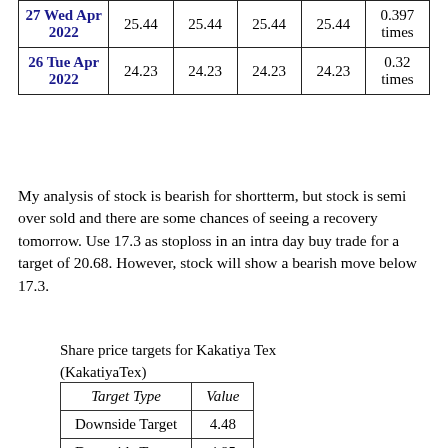| Date | Price | Open | High | Low | Volume |
| --- | --- | --- | --- | --- | --- |
| 27 Wed Apr 2022 | 25.44 | 25.44 | 25.44 | 25.44 | 0.397 times |
| 26 Tue Apr 2022 | 24.23 | 24.23 | 24.23 | 24.23 | 0.32 times |
My analysis of stock is bearish for shortterm, but stock is semi over sold and there are some chances of seeing a recovery tomorrow. Use 17.3 as stoploss in an intra day buy trade for a target of 20.68. However, stock will show a bearish move below 17.3.
Share price targets for Kakatiya Tex (KakatiyaTex)
| Target Type | Value |
| --- | --- |
| Downside Target | 4.48 |
| Downside Target | 4.95 |
| Downside Target | 5.71 |
| Downside Target | 6.26 |
| Downside Target | 6.57 |
| Downside Target | 11.15 |